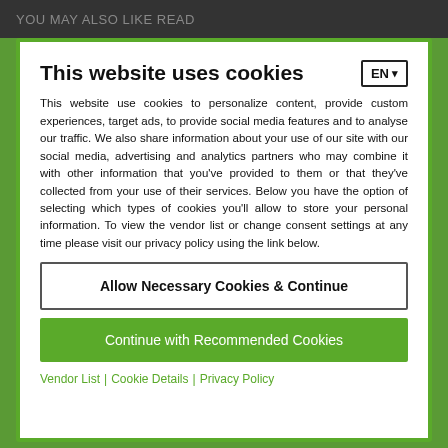YOU MAY ALSO LIKE READ
This website uses cookies
This website use cookies to personalize content, provide custom experiences, target ads, to provide social media features and to analyse our traffic. We also share information about your use of our site with our social media, advertising and analytics partners who may combine it with other information that you've provided to them or that they've collected from your use of their services. Below you have the option of selecting which types of cookies you'll allow to store your personal information. To view the vendor list or change consent settings at any time please visit our privacy policy using the link below.
Allow Necessary Cookies & Continue
Continue with Recommended Cookies
Vendor List | Cookie Details | Privacy Policy